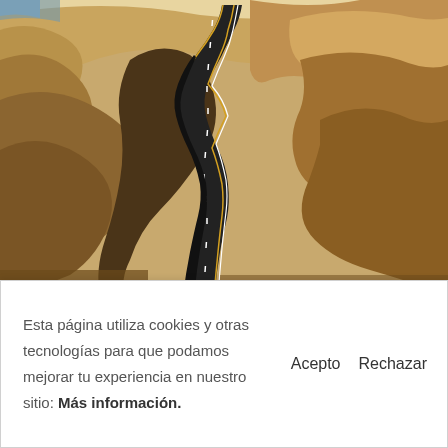[Figure (photo): Aerial view of a winding road with two lanes curving through golden-brown arid desert hills and terrain.]
Esta página utiliza cookies y otras tecnologías para que podamos mejorar tu experiencia en nuestro sitio: Más información.
Acepto    Rechazar